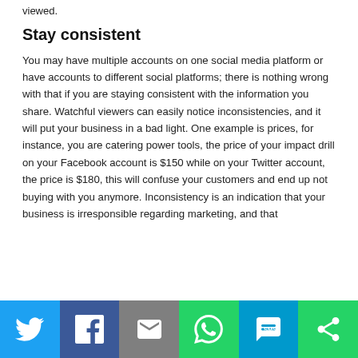viewed.
Stay consistent
You may have multiple accounts on one social media platform or have accounts to different social platforms; there is nothing wrong with that if you are staying consistent with the information you share. Watchful viewers can easily notice inconsistencies, and it will put your business in a bad light. One example is prices, for instance, you are catering power tools, the price of your impact drill on your Facebook account is $150 while on your Twitter account, the price is $180, this will confuse your customers and end up not buying with you anymore. Inconsistency is an indication that your business is irresponsible regarding marketing, and that
[Figure (infographic): Social sharing bar with icons for Twitter, Facebook, Email, WhatsApp, SMS, and More]